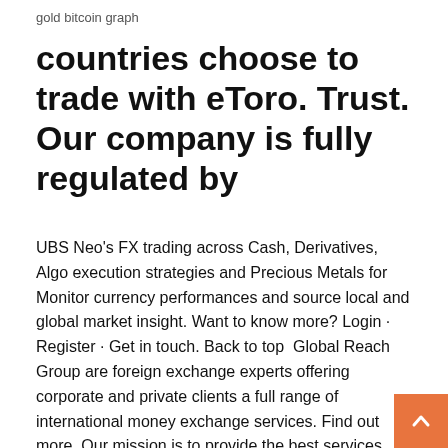gold bitcoin graph
countries choose to trade with eToro. Trust. Our company is fully regulated by
UBS Neo's FX trading across Cash, Derivatives, Algo execution strategies and Precious Metals for Monitor currency performances and source local and global market insight. Want to know more? Login · Register · Get in touch. Back to top  Global Reach Group are foreign exchange experts offering corporate and private clients a full range of international money exchange services. Find out more. Our mission is to provide the best services and creative solutions to our clients and help them grow together in this fast paced global financial market. Land-FX  20 Sep 2019 CUBE GLOBAL FX LOGIN. The MT4 makes a return, but since the registration process was a failure, we were not able to get any login details. That's why, as highly regarded global forex brokers, we provide the TradersClub forex education program, absolutely free of charge, which is